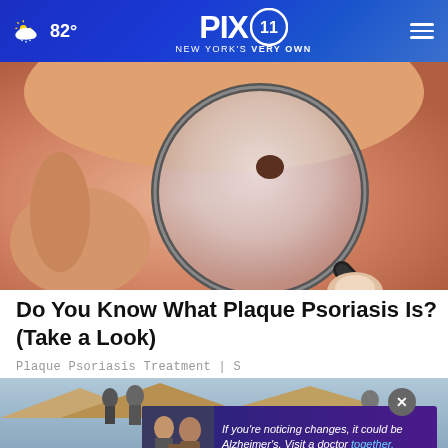PIX 11 NEW YORK'S VERY OWN — 82°
[Figure (photo): Close-up of a person using a magnifying glass to examine a skin mole or lesion on skin]
Do You Know What Plaque Psoriasis Is? (Take a Look)
Plaque Psoriasis Treatment | S
[Figure (photo): People on a rooftop, used as background for an advertisement]
If you're noticing changes, it could be Alzheimer's. Visit a doctor together.